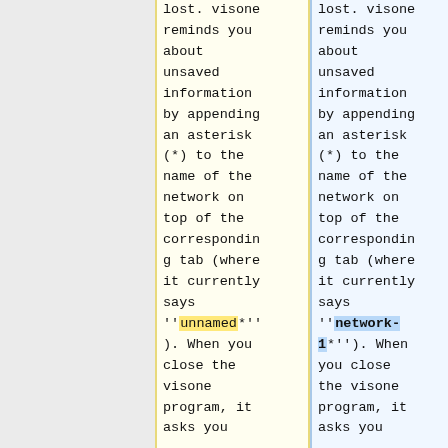lost. visone reminds you about unsaved information by appending an asterisk (*) to the name of the network on top of the corresponding tab (where it currently says ''unnamed*''). When you close the visone program, it asks you
lost. visone reminds you about unsaved information by appending an asterisk (*) to the name of the network on top of the corresponding tab (where it currently says ''network-1*''). When you close the visone program, it asks you